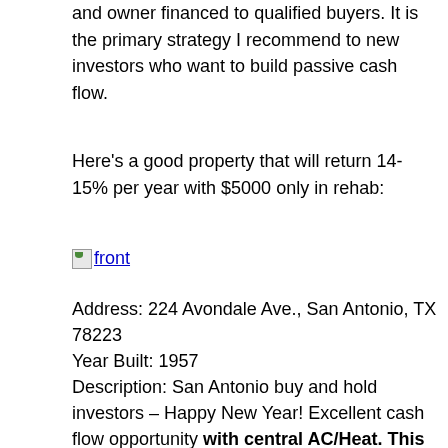and owner financed to qualified buyers. It is the primary strategy I recommend to new investors who want to build passive cash flow.
Here's a good property that will return 14-15% per year with $5000 only in rehab:
[Figure (photo): Broken/missing image placeholder with link labeled 'front']
Address: 224 Avondale Ave., San Antonio, TX 78223
Year Built: 1957
Description: San Antonio buy and hold investors – Happy New Year! Excellent cash flow opportunity with central AC/Heat. This is a big plus as you don't need to spend to add it. Has car port and tool shed. The neighborhood is in high demand, booming south San Antonio Market, 2 beds, 1 bath, 866 sqft, lot size: .16 acres, estimated repairs: 5K, clean/lawn maintenance/exterior paint. Max After Repair Value: 85K